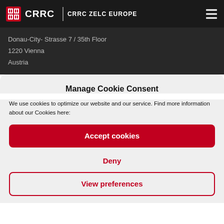CRRC | CRRC ZELC EUROPE
Donau-City- Strasse 7 / 35th Floor
1220 Vienna
Austria
Manage Cookie Consent
We use cookies to optimize our website and our service. Find more information about our Cookies here:
Accept cookies
Deny
View preferences